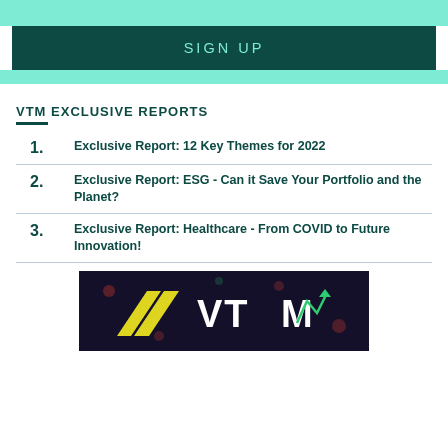SIGN UP
VTM EXCLUSIVE REPORTS
1. Exclusive Report: 12 Key Themes for 2022
2. Exclusive Report: ESG - Can it Save Your Portfolio and the Planet?
3. Exclusive Report: Healthcare - From COVID to Future Innovation!
[Figure (logo): VTM logo on dark background with yellow chevron arrow and green upward trend arrow in the M letter]